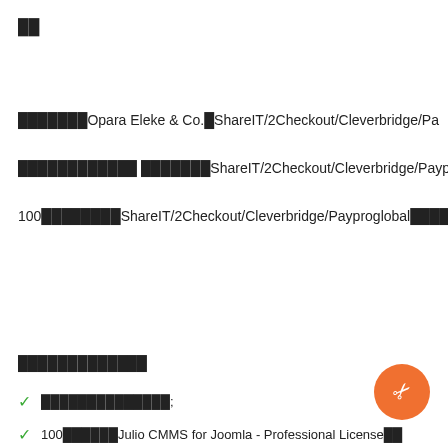██
███████Opara Eleke & Co.█ShareIT/2Checkout/Cleverbridge/Pa…
████████████ ███████ShareIT/2Checkout/Cleverbridge/Payproglo…
100████████ShareIT/2Checkout/Cleverbridge/Payproglobal████████
█████████████
✓ ██████████████;
✓ 100██████Julio CMMS for Joomla - Professional License██